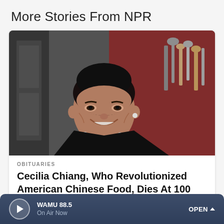More Stories From NPR
[Figure (photo): Portrait photo of Cecilia Chiang, an elderly Asian woman smiling, wearing a black top and pearl necklace, in a kitchen with cooking utensils in the background]
OBITUARIES
Cecilia Chiang, Who Revolutionized American Chinese Food, Dies At 100
WAMU 88.5 On Air Now OPEN ^